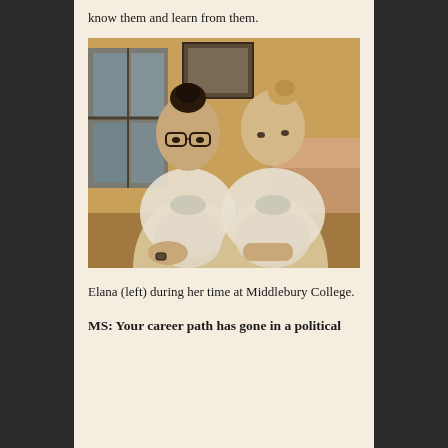know them and learn from them.
[Figure (photo): Two young women sitting together, both wearing white plastic bag-style garments tied at the front. The woman on the left has dark hair in a bun and wears glasses; the woman on the right has lighter hair in a bun. They are seated on a couch in a warmly lit room with a window and framed picture behind them.]
Elana (left) during her time at Middlebury College.
MS: Your career path has gone in a political